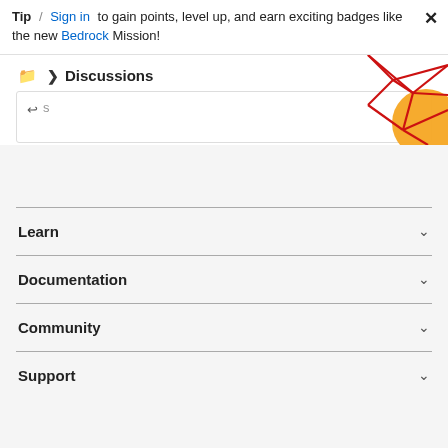Tip / Sign in to gain points, level up, and earn exciting badges like the new Bedrock Mission!
Discussions
[Figure (illustration): Decorative abstract network graph illustration with red lines forming a geometric shape and an orange circle, partially visible in the upper right corner.]
Learn
Documentation
Community
Support